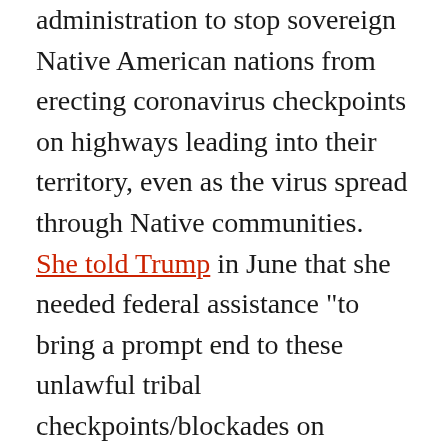administration to stop sovereign Native American nations from erecting coronavirus checkpoints on highways leading into their territory, even as the virus spread through Native communities. She told Trump in June that she needed federal assistance "to bring a prompt end to these unlawful tribal checkpoints/blockades on U.S./State highways" as "a final alternative to formal litigation." It's unclear what type of federal reinforcement she sought, but the governor later suggested that her opposition to coronavirus checkpoints in Indian Country was linked to the Keystone XL pipeline protests.
'"For every action that we take, and the tribes take, they're setting precedent," Noem warned in a letter to